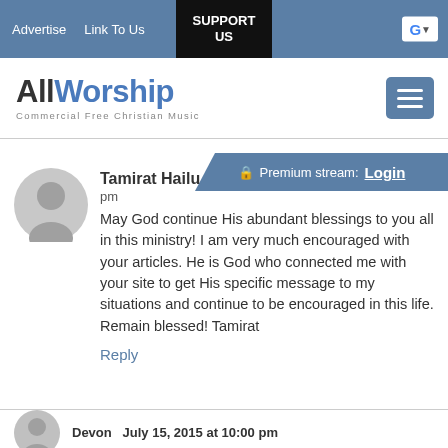Advertise  Link To Us  SUPPORT US
[Figure (logo): AllWorship - Commercial Free Christian Music logo with hamburger menu button]
[Figure (infographic): Premium stream banner with lock icon and Login link]
Tamirat Hailu
pm
May God continue His abundant blessings to you all in this ministry! I am very much encouraged with your articles. He is God who connected me with your site to get His specific message to my situations and continue to be encouraged in this life. Remain blessed! Tamirat
Reply
Devon  July 15, 2015 at 10:00 pm